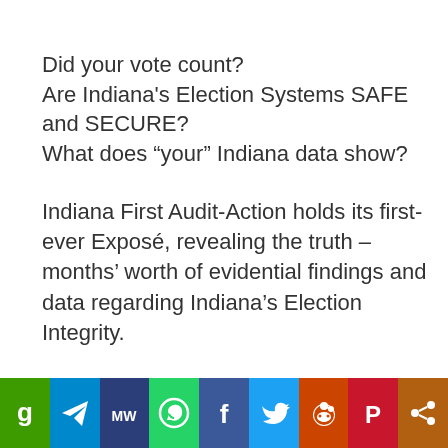Did your vote count?
Are Indiana's Election Systems SAFE and SECURE?
What does “your” Indiana data show?
Indiana First Audit-Action holds its first-ever Exposé, revealing the truth – months’ worth of evidential findings and data regarding Indiana’s Election Integrity.
[Figure (infographic): Social media sharing bar with icons: Gettr (green), Telegram (blue), MeWe (dark blue), WhatsApp (green), Facebook (blue), Twitter (light blue), Reddit (orange), Pinterest (red), Share (brown/orange)]